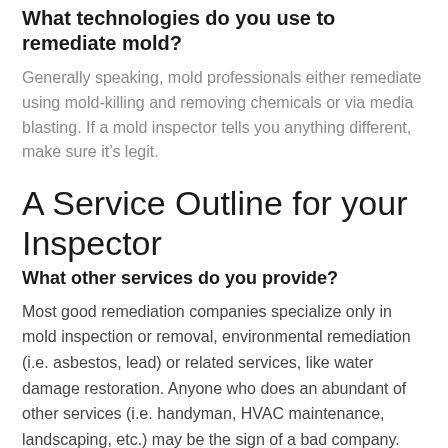What technologies do you use to remediate mold?
Generally speaking, mold professionals either remediate using mold-killing and removing chemicals or via media blasting. If a mold inspector tells you anything different, make sure it’s legit.
A Service Outline for your Inspector
What other services do you provide?
Most good remediation companies specialize only in mold inspection or removal, environmental remediation (i.e. asbestos, lead) or related services, like water damage restoration. Anyone who does an abundant of other services (i.e. handyman, HVAC maintenance, landscaping, etc.) may be the sign of a bad company. Just how qualified and